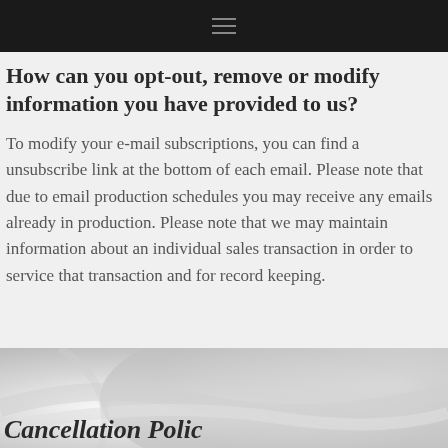≡
How can you opt-out, remove or modify information you have provided to us?
To modify your e-mail subscriptions, you can find a unsubscribe link at the bottom of each email. Please note that due to email production schedules you may receive any emails already in production. Please note that we may maintain information about an individual sales transaction in order to service that transaction and for record keeping.
[Figure (photo): Soft grey and white abstract background image with flowing fabric or textile texture]
Cancellation Polic